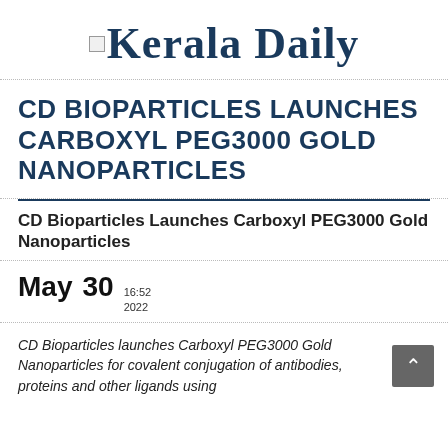Kerala Daily
CD BIOPARTICLES LAUNCHES CARBOXYL PEG3000 GOLD NANOPARTICLES
CD Bioparticles Launches Carboxyl PEG3000 Gold Nanoparticles
May 30  16:52  2022
CD Bioparticles launches Carboxyl PEG3000 Gold Nanoparticles for covalent conjugation of antibodies, proteins and other ligands using